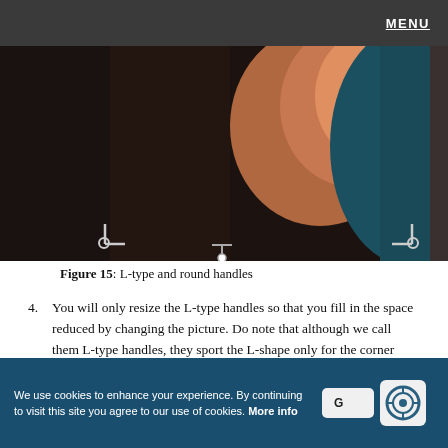MENU
[Figure (photo): Cropped photo showing L-type and round handles on an image editing interface with dark background and partial view of a person/object in teal and warm tones. Corner and side handles are visible as L-shaped brackets and circular handles.]
Figure 15: L-type and round handles
You will only resize the L-type handles so that you fill in the space reduced by changing the picture. Do note that although we call them L-type handles, they sport the L-shape only for the corner handles, and not for the side handles. You will have to resize either horizontally or vertically using these side handles.
We use cookies to enhance your experience. By continuing to visit this site you agree to our use of cookies. More info